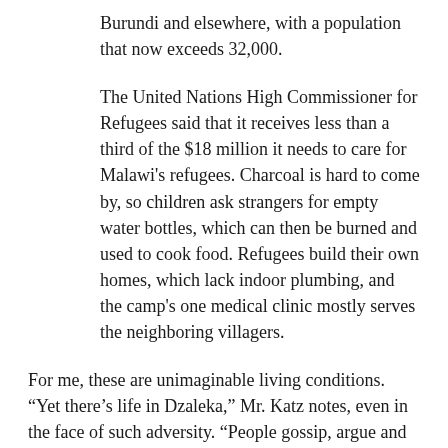Burundi and elsewhere, with a population that now exceeds 32,000.
The United Nations High Commissioner for Refugees said that it receives less than a third of the $18 million it needs to care for Malawi's refugees. Charcoal is hard to come by, so children ask strangers for empty water bottles, which can then be burned and used to cook food. Refugees build their own homes, which lack indoor plumbing, and the camp's one medical clinic mostly serves the neighboring villagers.
For me, these are unimaginable living conditions. “Yet there’s life in Dzaleka,” Mr. Katz notes, even in the face of such adversity. “People gossip, argue and dance. There are churches, schools and hair salons. Refugees may be forbidden by the Malawian government from working, but an underground economy is driven by barter and cash sent